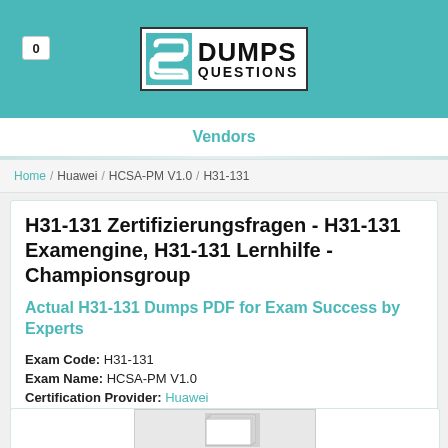[Figure (logo): DumpsQuestions logo with teal S icon and bold DUMPS QUESTIONS text on white background with teal header]
Vendors
Home / Huawei / HCSA-PM V1.0 / H31-131
H31-131 Zertifizierungsfragen - H31-131 Examengine, H31-131 Lernhilfe - Championsgroup
Actual H31-131 Dumps PDF for Exam Success by Experts
Exam Code: H31-131
Exam Name: HCSA-PM V1.0
Certification Provider: Huawei
Related Certification: HCSA-PM V1.0.
[Figure (photo): Partial preview image of a document or product]